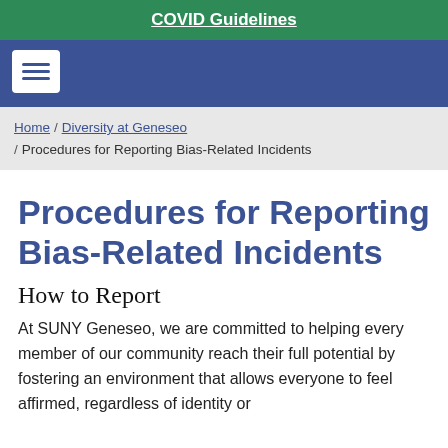COVID Guidelines
Home / Diversity at Geneseo / Procedures for Reporting Bias-Related Incidents
Procedures for Reporting Bias-Related Incidents
How to Report
At SUNY Geneseo, we are committed to helping every member of our community reach their full potential by fostering an environment that allows everyone to feel affirmed, regardless of identity or